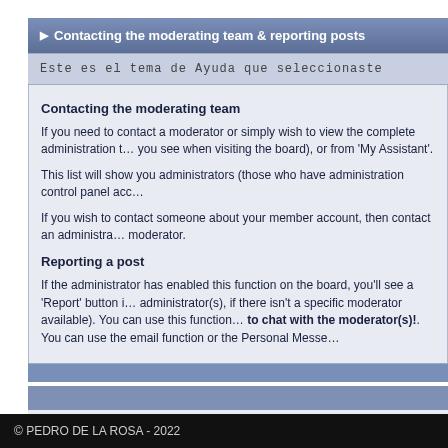▶ Contacting the moderating team & reporting posts
Este es el tema de Ayuda que seleccionaste
Contacting the moderating team
If you need to contact a moderator or simply wish to view the complete administration t… you see when visiting the board), or from 'My Assistant'.
This list will show you administrators (those who have administration control panel acc…
If you wish to contact someone about your member account, then contact an administra… moderator.
Reporting a post
If the administrator has enabled this function on the board, you'll see a 'Report' button i… administrator(s), if there isn't a specific moderator available). You can use this function… to chat with the moderator(s)!. You can use the email function or the Personal Messe…
Powered
© PEDRO DE LA ROSA - 2022